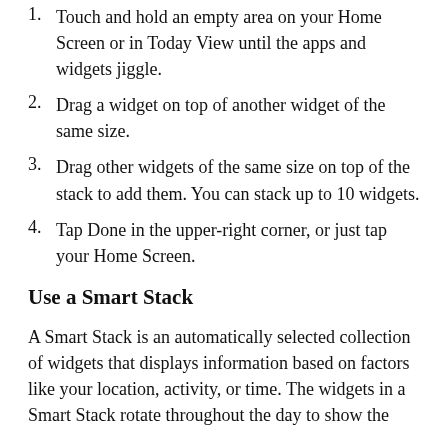Touch and hold an empty area on your Home Screen or in Today View until the apps and widgets jiggle.
Drag a widget on top of another widget of the same size.
Drag other widgets of the same size on top of the stack to add them. You can stack up to 10 widgets.
Tap Done in the upper-right corner, or just tap your Home Screen.
Use a Smart Stack
A Smart Stack is an automatically selected collection of widgets that displays information based on factors like your location, activity, or time. The widgets in a Smart Stack rotate throughout the day to show the